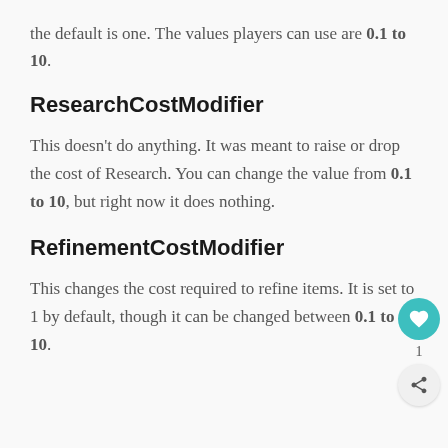the default is one. The values players can use are 0.1 to 10.
ResearchCostModifier
This doesn't do anything. It was meant to raise or drop the cost of Research. You can change the value from 0.1 to 10, but right now it does nothing.
RefinementCostModifier
This changes the cost required to refine items. It is set to 1 by default, though it can be changed between 0.1 to 10.